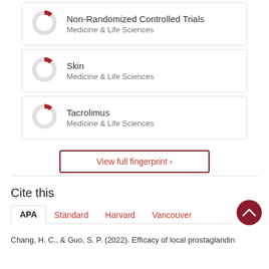[Figure (donut-chart): Donut chart icon for Non-Randomized Controlled Trials with small red segment]
Non-Randomized Controlled Trials
Medicine & Life Sciences
[Figure (donut-chart): Donut chart icon for Skin with small red segment]
Skin
Medicine & Life Sciences
[Figure (donut-chart): Donut chart icon for Tacrolimus with small red segment]
Tacrolimus
Medicine & Life Sciences
View full fingerprint >
Cite this
APA  Standard  Harvard  Vancouver  ...
Chang, H. C., & Guo, S. P. (2022). Efficacy of local prostaglandin